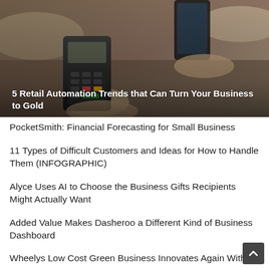[Figure (photo): Photo of a person holding a smartphone over a card payment terminal (POS device), with another hand holding the terminal. Retail payment scene.]
5 Retail Automation Trends that Can Turn Your Business to Gold
PocketSmith: Financial Forecasting for Small Business
11 Types of Difficult Customers and Ideas for How to Handle Them (INFOGRAPHIC)
Alyce Uses AI to Choose the Business Gifts Recipients Might Actually Want
Added Value Makes Dasheroo a Different Kind of Business Dashboard
Wheelys Low Cost Green Business Innovates Again With New Software Bike